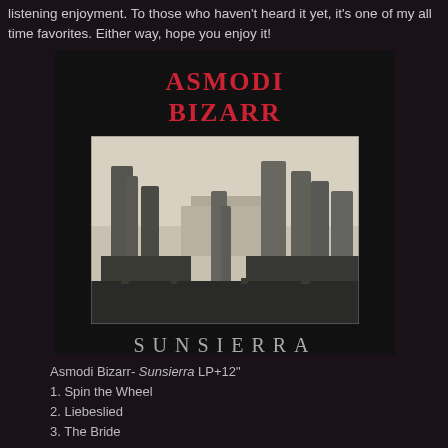listening enjoyment.  To those who haven't heard it yet, it's one of my all time favorites.  Either way, hope you enjoy it!
[Figure (illustration): Album cover for Asmodi Bizarr – Sunsierra LP+12". Black background with red styled text 'ASMODI BIZARR' at top, a black and white landscape photograph of desert rock formations (Monument Valley style), and the word 'SUNSIERRA' in spaced silver letters at the bottom.]
Asmodi Bizarr- Sunsierra LP+12"
1. Spin the Wheel
2. Liebeslied
3. The Bride
4. Hush – Hush, Sweet Charlotta